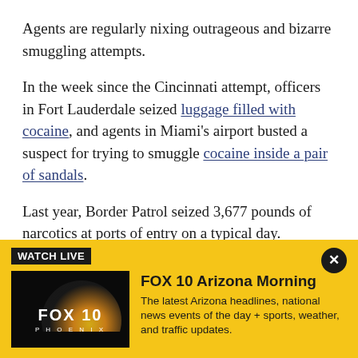Agents are regularly nixing outrageous and bizarre smuggling attempts.
In the week since the Cincinnati attempt, officers in Fort Lauderdale seized luggage filled with cocaine, and agents in Miami’s airport busted a suspect for trying to smuggle cocaine inside a pair of sandals.
Last year, Border Patrol seized 3,677 pounds of narcotics at ports of entry on a typical day.
This story was reported from Atlanta.
[Figure (infographic): Yellow banner advertisement for FOX 10 Arizona Morning live stream. Contains WATCH LIVE badge, FOX 10 Phoenix thumbnail image, show title, and description text.]